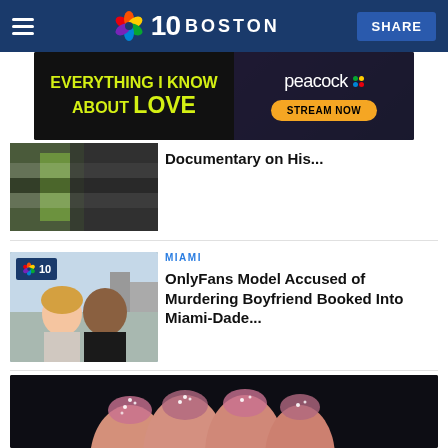NBC10 BOSTON
[Figure (screenshot): Peacock ad banner: 'Everything I Know About Love' STREAM NOW on Peacock]
[Figure (photo): Partial article image - crowd with green and black striped items]
Documentary on His...
MIAMI
[Figure (photo): NBC10 article photo: couple selfie outdoors, blonde woman and man smiling]
OnlyFans Model Accused of Murdering Boyfriend Booked Into Miami-Dade...
[Figure (photo): Close-up photo of fingertips with glittery nail art]